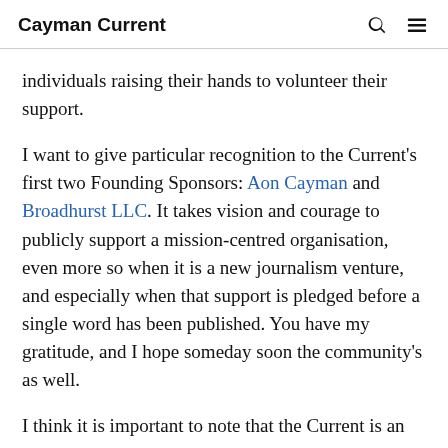Cayman Current
individuals raising their hands to volunteer their support.
I want to give particular recognition to the Current's first two Founding Sponsors: Aon Cayman and Broadhurst LLC. It takes vision and courage to publicly support a mission-centred organisation, even more so when it is a new journalism venture, and especially when that support is pledged before a single word has been published. You have my gratitude, and I hope someday soon the community's as well.
I think it is important to note that the Current is an